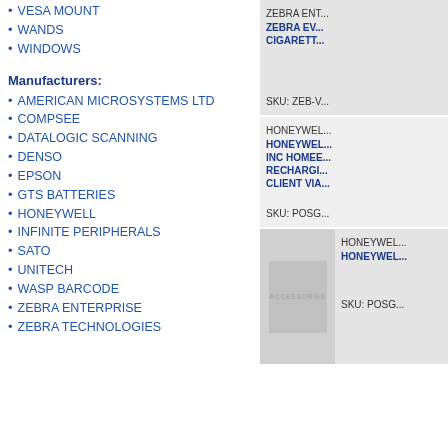VESA MOUNT
WANDS
WINDOWS
Manufacturers:
AMERICAN MICROSYSTEMS LTD
COMPSEE
DATALOGIC SCANNING
DENSO
EPSON
GTS BATTERIES
HONEYWELL
INFINITE PERIPHERALS
SATO
UNITECH
WASP BARCODE
ZEBRA ENTERPRISE
ZEBRA TECHNOLOGIES
[Figure (other): Product card: ZEBRA ENTERPRISE, ZEBRA EV... CIGARETT... SKU: ZEB-V...]
[Figure (other): Product card: HONEYWELL, HONEYWELL INC HOMEE... RECHARGI... CLIENT VIA... SKU: POSG...]
[Figure (other): Product card with ACCESSORIES image placeholder: HONEYWELL, HONEYWELL... SKU: POSG...]